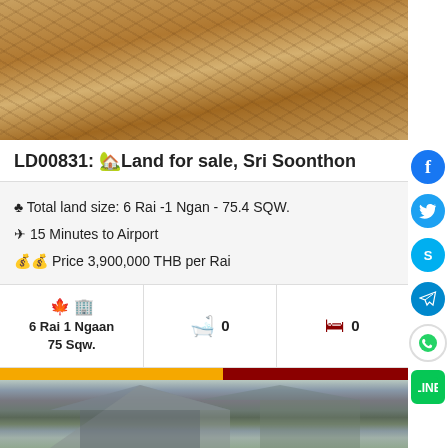[Figure (photo): Aerial/ground view of a bare dirt/sandy land plot with tractor track marks]
LD00831: 🏡Land for sale, Sri Soonthon
♣ Total land size: 6 Rai -1 Ngan - 75.4 SQW.
✈ 15 Minutes to Airport
💰 Price 3,900,000 THB per Rai
| Land Size | Baths | Beds |
| --- | --- | --- |
| 6 Rai 1 Ngaan 75 Sqw. | 0 | 0 |
฿25,110,150
More Detail
[Figure (photo): Partial view of a house with tiled roof and surrounding trees]